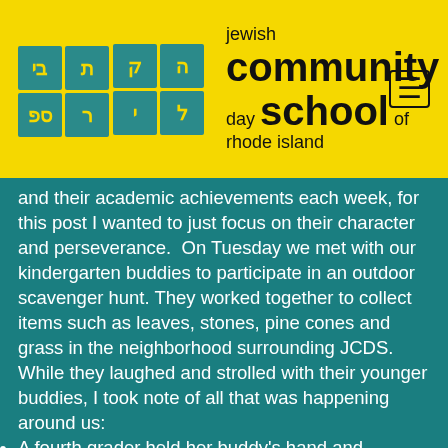[Figure (logo): Jewish Community Day School of Rhode Island logo with Hebrew text grid and school name]
and their academic achievements each week, for this post I wanted to just focus on their character and perseverance.  On Tuesday we met with our kindergarten buddies to participate in an outdoor scavenger hunt. They worked together to collect items such as leaves, stones, pine cones and grass in the neighborhood surrounding JCDS. While they laughed and strolled with their younger buddies, I took note of all that was happening around us:
A fourth grader held her buddy’s hand and carefully helped her across the street.
A fourth grader bent down to pick up all of the items that had spilled out of the bag